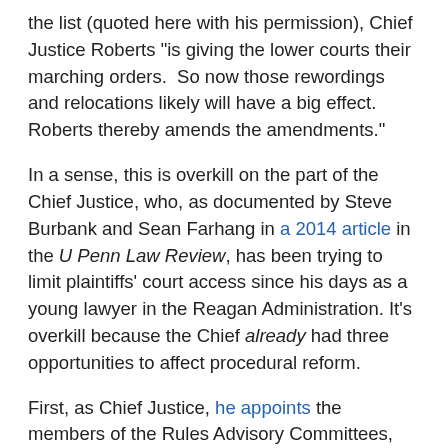the list (quoted here with his permission), Chief Justice Roberts "is giving the lower courts their marching orders.  So now those rewordings and relocations likely will have a big effect. Roberts thereby amends the amendments."
In a sense, this is overkill on the part of the Chief Justice, who, as documented by Steve Burbank and Sean Farhang in a 2014 article in the U Penn Law Review, has been trying to limit plaintiffs' court access since his days as a young lawyer in the Reagan Administration. It's overkill because the Chief already had three opportunities to affect procedural reform.
First, as Chief Justice, he appoints the members of the Rules Advisory Committees, and can thus stack those committees with majorities sympathetic to his point of view (a point I make without intending to impugn the integrity of any of the people who serve, but simply to note the possibility). Second, as a member of the Court, he and his colleagues serve as gatekeepers who can--and occasionally do--block proposed amendments to procedural rules from going into effect. Third, again as a member of the Court, the